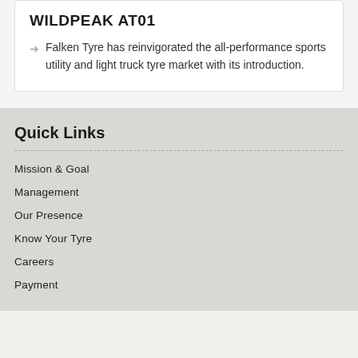WILDPEAK AT01
Falken Tyre has reinvigorated the all-performance sports utility and light truck tyre market with its introduction.
Quick Links
Mission & Goal
Management
Our Presence
Know Your Tyre
Careers
Payment